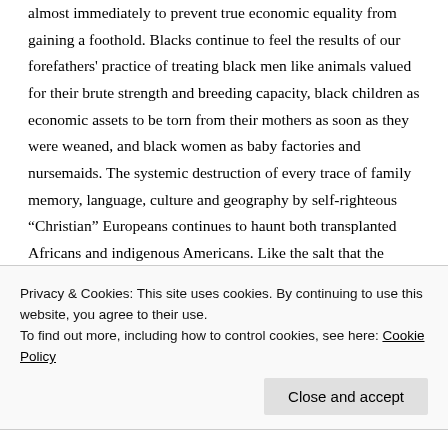almost immediately to prevent true economic equality from gaining a foothold. Blacks continue to feel the results of our forefathers' practice of treating black men like animals valued for their brute strength and breeding capacity, black children as economic assets to be torn from their mothers as soon as they were weaned, and black women as baby factories and nursemaids. The systemic destruction of every trace of family memory, language, culture and geography by self-righteous “Christian” Europeans continues to haunt both transplanted Africans and indigenous Americans. Like the salt that the Romans sowed in Carthage, two centuries of enforced ignorance created a barren cultural soil that struggles to find an
Privacy & Cookies: This site uses cookies. By continuing to use this website, you agree to their use.
To find out more, including how to control cookies, see here: Cookie Policy
Close and accept